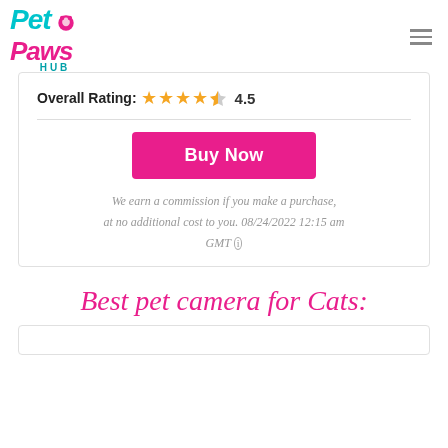Pet Paws Hub [logo with hamburger menu]
Overall Rating: ★★★★½ 4.5
Buy Now
We earn a commission if you make a purchase, at no additional cost to you. 08/24/2022 12:15 am GMT ⓘ
Best pet camera for Cats: